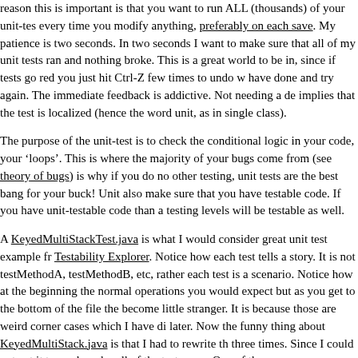reason this is important is that you want to run ALL (thousands) of your unit-tests every time you modify anything, preferably on each save. My patience is two seconds. In two seconds I want to make sure that all of my unit tests ran and nothing broke. This is a great world to be in, since if tests go red you just hit Ctrl-Z few times to undo what you have done and try again. The immediate feedback is addictive. Not needing a debugger implies that the test is localized (hence the word unit, as in single class).
The purpose of the unit-test is to check the conditional logic in your code, your 'loops'. This is where the majority of your bugs come from (see theory of bugs). This is why if you do no other testing, unit tests are the best bang for your buck! Unit tests also make sure that you have testable code. If you have unit-testable code than all other testing levels will be testable as well.
A KeyedMultiStackTest.java is what I would consider great unit test example from Testability Explorer. Notice how each test tells a story. It is not testMethodA, testMethodB, etc, rather each test is a scenario. Notice how at the beginning the tests are normal operations you would expect but as you get to the bottom of the file the tests become little stranger. It is because those are weird corner cases which I have discussed later. Now the funny thing about KeyedMultiStack.java is that I had to rewrite the code three times. Since I could not get it to work under all of the test cases. One of th